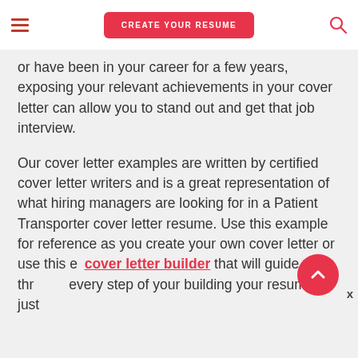CREATE YOUR RESUME
or have been in your career for a few years, exposing your relevant achievements in your cover letter can allow you to stand out and get that job interview.
Our cover letter examples are written by certified cover letter writers and is a great representation of what hiring managers are looking for in a Patient Transporter cover letter resume. Use this example for reference as you create your own cover letter or use this e… cover letter builder that will guide you through every step of your building your resume in just